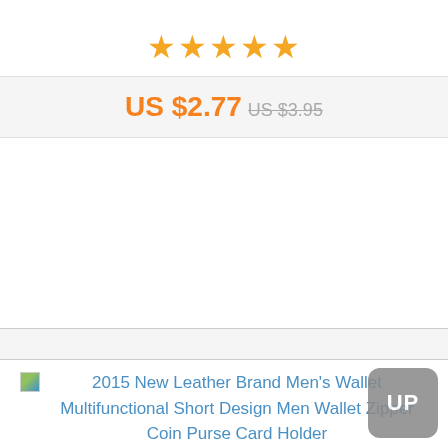[Figure (other): Five orange star rating icons displayed horizontally]
US $2.77  US $3.95
[Figure (other): Empty white content area with light gray background below]
[Figure (photo): Small thumbnail image placeholder with green/blue gradient, linked to product: 2015 New Leather Brand Men's Wallet Multifunctional Short Design Men Wallet Zipper Coin Purse Card Holder]
2015 New Leather Brand Men's Wallet Multifunctional Short Design Men Wallet Zipper Coin Purse Card Holder
[Figure (other): Gray UP button in bottom right corner]